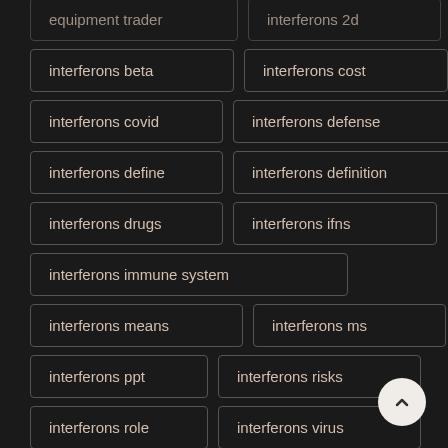equipment trader
interferons 2d
interferons beta
interferons cost
interferons covid
interferons defense
interferons define
interferons definition
interferons drugs
interferons ifns
interferons immune system
interferons means
interferons ms
interferons ppt
interferons risks
interferons role
interferons virus
interferons wiki
interferons work